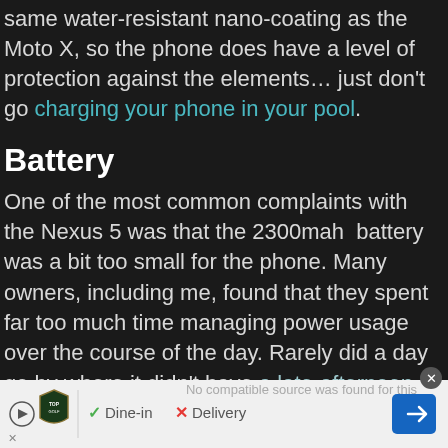same water-resistant nano-coating as the Moto X, so the phone does have a level of protection against the elements… just don't go charging your phone in your pool.
Battery
One of the most common complaints with the Nexus 5 was that the 2300mah  battery was a bit too small for the phone. Many owners, including me, found that they spent far too much time managing power usage over the course of the day. Rarely did a day go by where it didn't have a late-afternoon date on the charger and during outings with the family, I found myself fiddling with settings to help eek out some more time.
[Figure (screenshot): Advertisement bar at the bottom showing TopGolf logo with Dine-in and Delivery options and navigation arrow icon]